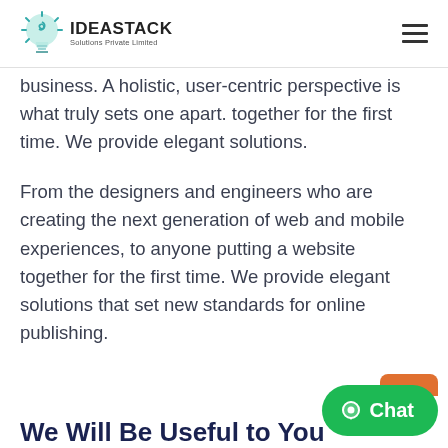IDEASTACK Solutions Private Limited
…tal technology has made our world more interconnected, posing new challenges and opportunities for every business. A holistic, user-centric perspective is what truly sets one apart. together for the first time. We provide elegant solutions.
From the designers and engineers who are creating the next generation of web and mobile experiences, to anyone putting a website together for the first time. We provide elegant solutions that set new standards for online publishing.
We Will Be Useful to You